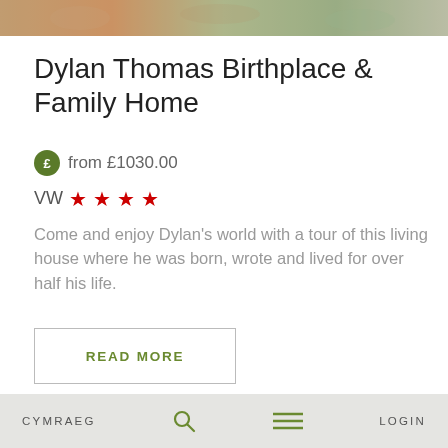[Figure (photo): Top portion of a person or decorative image, cropped at top of page]
Dylan Thomas Birthplace & Family Home
from £1030.00
VW ★★★★
Come and enjoy Dylan's world with a tour of this living house where he was born, wrote and lived for over half his life.
READ MORE
[Figure (photo): Blue sky with bright sun and partial view of a building on the right side]
CYMRAEG   [search icon]   [menu icon]   LOGIN